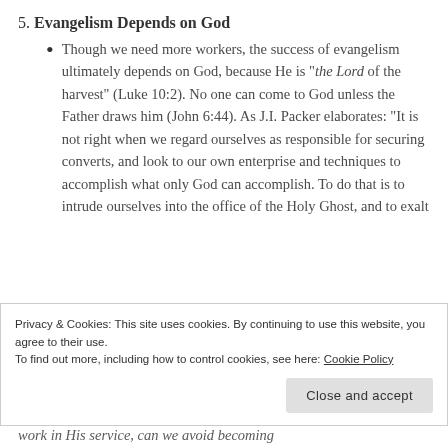5. Evangelism Depends on God
Though we need more workers, the success of evangelism ultimately depends on God, because He is “the Lord of the harvest” (Luke 10:2). No one can come to God unless the Father draws him (John 6:44). As J.I. Packer elaborates: “It is not right when we regard ourselves as responsible for securing converts, and look to our own enterprise and techniques to accomplish what only God can accomplish. To do that is to intrude ourselves into the office of the Holy Ghost, and to exalt
Privacy & Cookies: This site uses cookies. By continuing to use this website, you agree to their use.
To find out more, including how to control cookies, see here: Cookie Policy
Close and accept
work in His service, can we avoid becoming